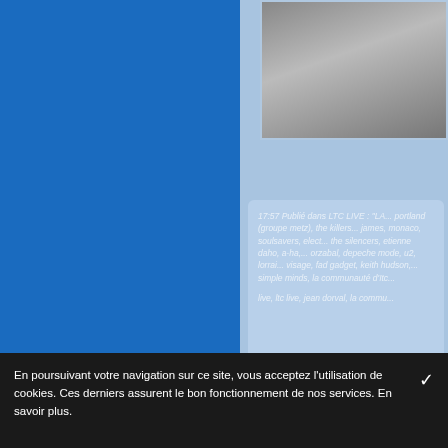[Figure (screenshot): A partial screenshot of a website. Left side shows a solid blue background. Right side shows a light blue panel with a video/image thumbnail at the top (grey gradient) and a text card below containing italic white text about LTC LIVE.]
17:57 Publié dans LTC LIVE : "LA... portland (groupe metz), the killers... james, monaco, soulsavers, elect... the silencers, etienne daho, a-ha,... orzabal, depeche mode, u2, lorrai... visage, fad gadget, keith hudson,... simple minds, la communauté d'Itc... live, ltc live, jean dorval, la commu...
En poursuivant votre navigation sur ce site, vous acceptez l'utilisation de cookies. Ces derniers assurent le bon fonctionnement de nos services. En savoir plus.